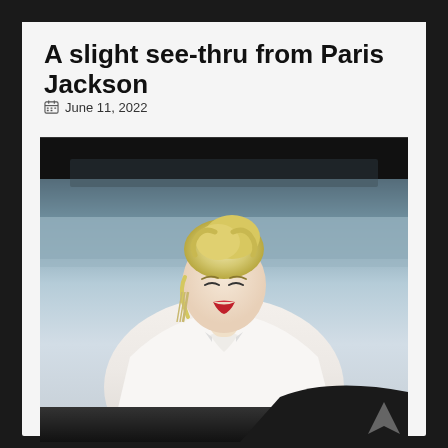A slight see-thru from Paris Jackson
June 11, 2022
[Figure (photo): Paris Jackson wearing a white blouse with bow/tie detail, blonde updo hairstyle, red lips, dangling earrings, photographed outdoors, smiling and looking to the side. Urban/waterfront background blurred behind her.]